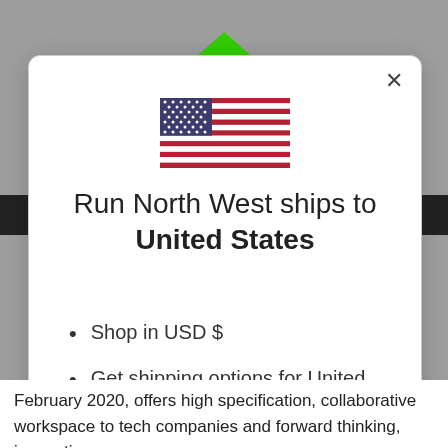[Figure (logo): Green logo partially visible at top center of page]
[Figure (illustration): US flag SVG illustration centered in modal dialog]
Run North West ships to United States
Shop in USD $
Get shipping options for United States
Shop now
Change shipping country
February 2020, offers high specification, collaborative workspace to tech companies and forward thinking, innovative